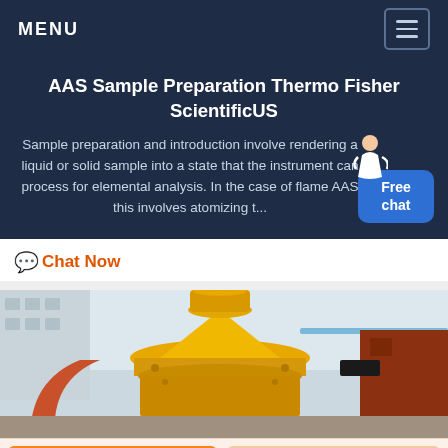MENU
AAS Sample Preparation Thermo Fisher ScientificUS
Sample preparation and introduction involve rendering a liquid or solid sample into a state that the instrument can process for elemental analysis. In the case of flame AAS this involves atomizing t...
Chat Now
[Figure (photo): Industrial yellow machinery (cone crusher or similar heavy equipment) photographed outdoors with buildings and sky in background]
Get a Quote
WhatsApp